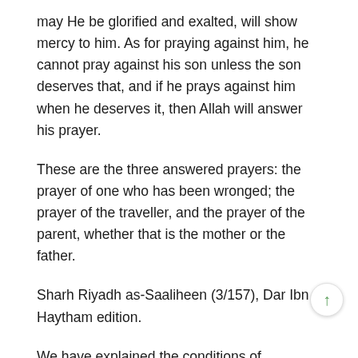may He be glorified and exalted, will show mercy to him. As for praying against him, he cannot pray against his son unless the son deserves that, and if he prays against him when he deserves it, then Allah will answer his prayer.
These are the three answered prayers: the prayer of one who has been wronged; the prayer of the traveller, and the prayer of the parent, whether that is the mother or the father.
Sharh Riyadh as-Saaliheen (3/157), Dar Ibn Haytham edition.
We have explained the conditions of supplication so